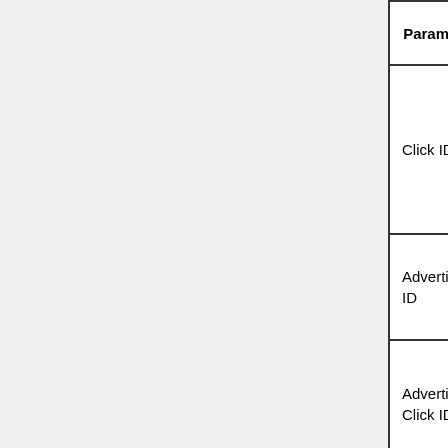| Parameter | Name In Request | Description | Example |
| --- | --- | --- | --- |
| Click ID | tt_cid | Taptica Internal unique click ID which was sent on the click URL | tt_cid=2a… |
| Advertiser ID | tt_adv_id | Taptica internal unique advertiser id. | tt_adv_id=… |
| Advertiser Click ID | tt_adv_sub | The advertiser unique conversion ID | tt_adv_su… |
| Event ID (Goal id) | tt_goal | Taptica unique identifier | tt_goal=74… |